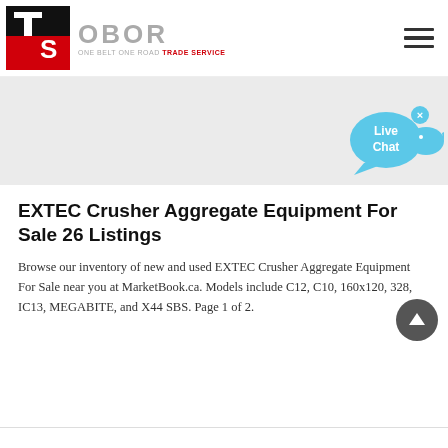[Figure (logo): OBOR Trade Service logo with red and black TS icon and gray OBOR text, tagline ONE BELT ONE ROAD TRADE SERVICE]
EXTEC Crusher Aggregate Equipment For Sale 26 Listings
Browse our inventory of new and used EXTEC Crusher Aggregate Equipment For Sale near you at MarketBook.ca. Models include C12, C10, 160x120, 328, IC13, MEGABITE, and X44 SBS. Page 1 of 2.